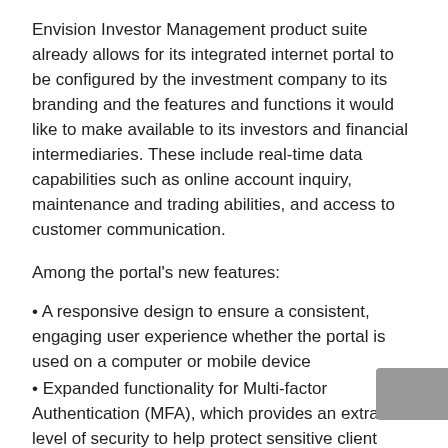Envision Investor Management product suite already allows for its integrated internet portal to be configured by the investment company to its branding and the features and functions it would like to make available to its investors and financial intermediaries. These include real-time data capabilities such as online account inquiry, maintenance and trading abilities, and access to customer communication.
Among the portal's new features:
A responsive design to ensure a consistent, engaging user experience whether the portal is used on a computer or mobile device
Expanded functionality for Multi-factor Authentication (MFA), which provides an extra level of security to help protect sensitive client information
Real-time and instant bank account verification during the new account establishment process